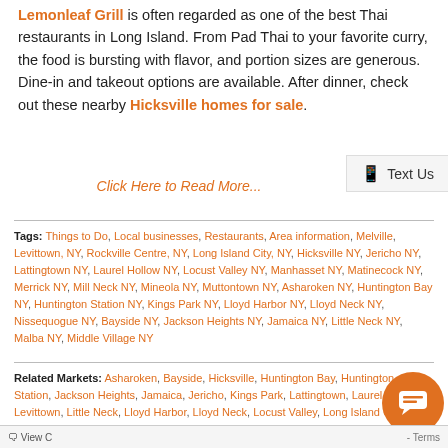Lemonleaf Grill is often regarded as one of the best Thai restaurants in Long Island. From Pad Thai to your favorite curry, the food is bursting with flavor, and portion sizes are generous. Dine-in and takeout options are available. After dinner, check out these nearby Hicksville homes for sale.
Click Here to Read More...
Tags: Things to Do, Local businesses, Restaurants, Area information, Melville, Levittown, NY, Rockville Centre, NY, Long Island City, NY, Hicksville NY, Jericho NY, Lattingtown NY, Laurel Hollow NY, Locust Valley NY, Manhasset NY, Matinecock NY, Merrick NY, Mill Neck NY, Mineola NY, Muttontown NY, Asharoken NY, Huntington Bay NY, Huntington Station NY, Kings Park NY, Lloyd Harbor NY, Lloyd Neck NY, Nissequogue NY, Bayside NY, Jackson Heights NY, Jamaica NY, Little Neck NY, Malba NY, Middle Village NY
Related Markets: Asharoken, Bayside, Hicksville, Huntington Bay, Huntington Station, Jackson Heights, Jamaica, Jericho, Kings Park, Lattingtown, Laurel Hollow, Levittown, Little Neck, Lloyd Harbor, Lloyd Neck, Locust Valley, Long Island City, Malba, Manhasset, Matinecock, Melville, Merrick, Middle Village, Mill Neck, Mineola, Muttontown, Nissequogue, Rockville